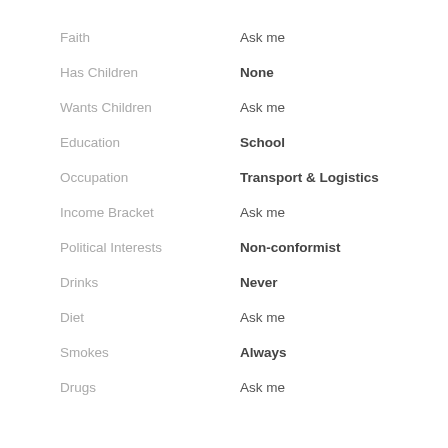Faith — Ask me
Has Children — None
Wants Children — Ask me
Education — School
Occupation — Transport & Logistics
Income Bracket — Ask me
Political Interests — Non-conformist
Drinks — Never
Diet — Ask me
Smokes — Always
Drugs — Ask me